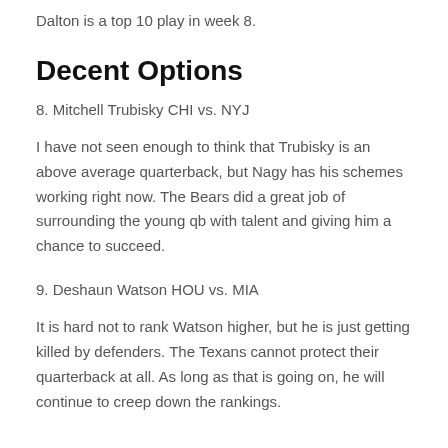Dalton is a top 10 play in week 8.
Decent Options
8. Mitchell Trubisky CHI vs. NYJ
I have not seen enough to think that Trubisky is an above average quarterback, but Nagy has his schemes working right now. The Bears did a great job of surrounding the young qb with talent and giving him a chance to succeed.
9. Deshaun Watson HOU vs. MIA
It is hard not to rank Watson higher, but he is just getting killed by defenders. The Texans cannot protect their quarterback at all. As long as that is going on, he will continue to creep down the rankings.